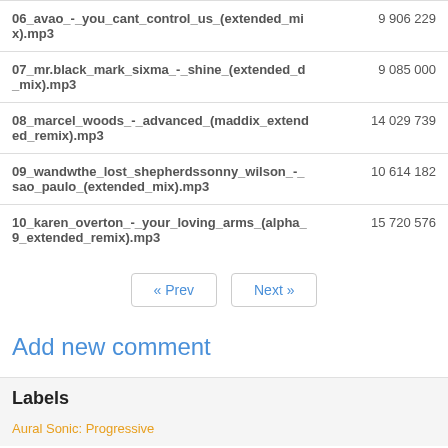| Filename | Size |
| --- | --- |
| 06_avao_-_you_cant_control_us_(extended_mix).mp3 | 9 906 229 |
| 07_mr.black_mark_sixma_-_shine_(extended_mix).mp3 | 9 085 000 |
| 08_marcel_woods_-_advanced_(maddix_extended_remix).mp3 | 14 029 739 |
| 09_wandwthe_lost_shepherdssonny_wilson_-_sao_paulo_(extended_mix).mp3 | 10 614 182 |
| 10_karen_overton_-_your_loving_arms_(alpha_9_extended_remix).mp3 | 15 720 576 |
« Prev   Next »
Add new comment
Labels
Aural Sonic: Progressive